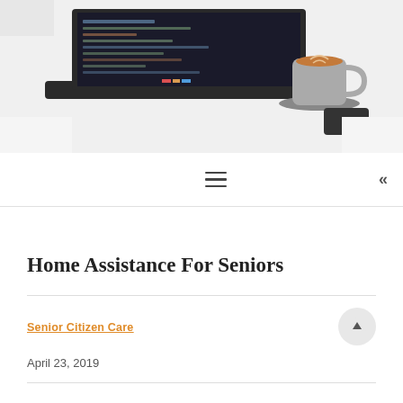[Figure (photo): Hero image showing a laptop with dark code editor screen and a coffee cup with latte art on a white desk]
≡  «
Home Assistance For Seniors
Senior Citizen Care
April 23, 2019